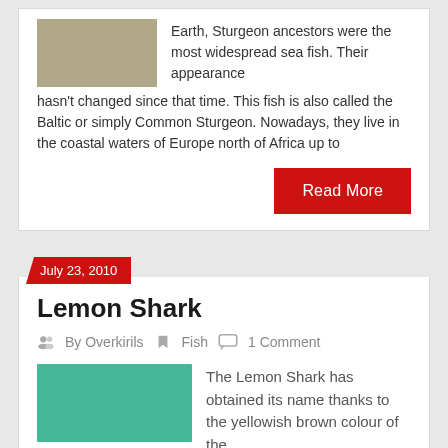Earth, Sturgeon ancestors were the most widespread sea fish. Their appearance hasn't changed since that time. This fish is also called the Baltic or simply Common Sturgeon. Nowadays, they live in the coastal waters of Europe north of Africa up to
Read More
July 23, 2010
Lemon Shark
By Overkirils   Fish   1 Comment
[Figure (photo): Underwater photo of a lemon shark with greenish-teal water]
The Lemon Shark has obtained its name thanks to the yellowish brown colour of the